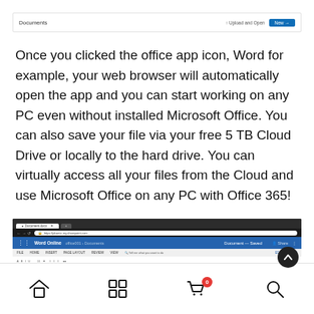Documents    ↑ Upload and Open    New →
Once you clicked the office app icon, Word for example, your web browser will automatically open the app and you can start working on any PC even without installed Microsoft Office. You can also save your file via your free 5 TB Cloud Drive or locally to the hard drive. You can virtually access all your files from the Cloud and use Microsoft Office on any PC with Office 365!
[Figure (screenshot): Screenshot of Word Online running in a web browser, showing the browser bar with URL https://pkamic.my.sharepoint.com and the Office 365 ribbon interface with 'Word Online', breadcrumb navigation, and document toolbar.]
Home  Grid  Cart(0)  Search